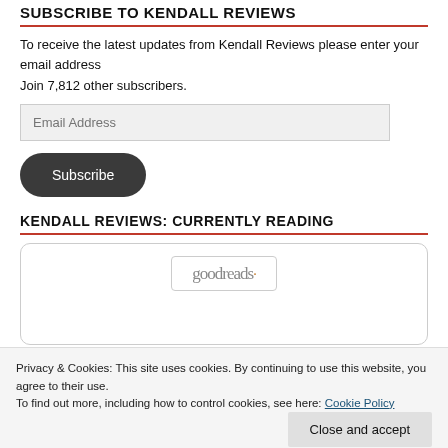SUBSCRIBE TO KENDALL REVIEWS
To receive the latest updates from Kendall Reviews please enter your email address
Join 7,812 other subscribers.
KENDALL REVIEWS: CURRENTLY READING
[Figure (screenshot): Goodreads widget embedded in a rounded-border box showing the goodreads logo]
Privacy & Cookies: This site uses cookies. By continuing to use this website, you agree to their use.
To find out more, including how to control cookies, see here: Cookie Policy
Close and accept